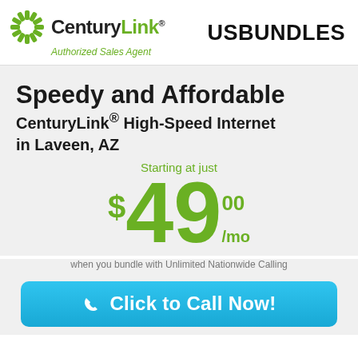[Figure (logo): CenturyLink logo with sunburst icon, wordmark, and 'Authorized Sales Agent' tagline]
USBUNDLES
Speedy and Affordable
CenturyLink® High-Speed Internet
in Laveen, AZ
Starting at just $49.00/mo
when you bundle with Unlimited Nationwide Calling
Click to Call Now!